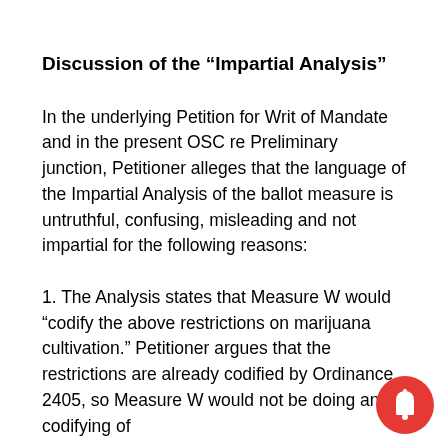Discussion of the “Impartial Analysis”
In the underlying Petition for Writ of Mandate and in the present OSC re Preliminary junction, Petitioner alleges that the language of the Impartial Analysis of the ballot measure is untruthful, confusing, misleading and not impartial for the following reasons:
1. The Analysis states that Measure W would “codify the above restrictions on marijuana cultivation.” Petitioner argues that the restrictions are already codified by Ordinance 2405, so Measure W would not be doing any codifying of